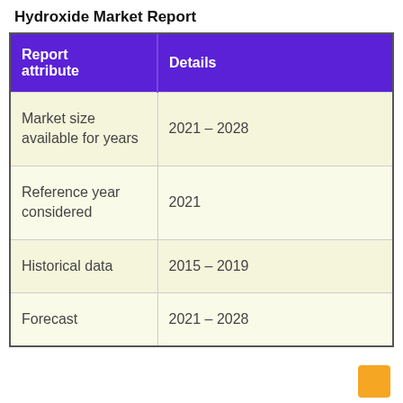Hydroxide Market Report
| Report attribute | Details |
| --- | --- |
| Market size available for years | 2021 – 2028 |
| Reference year considered | 2021 |
| Historical data | 2015 – 2019 |
| Forecast | 2021 – 2028 |